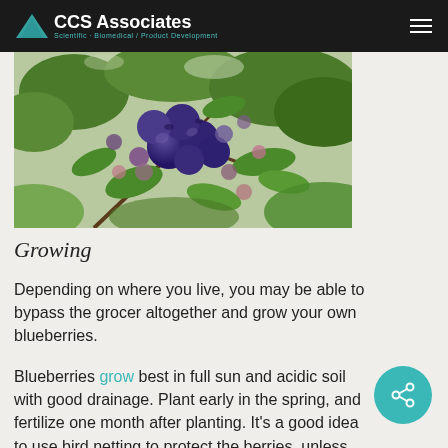CCS Associates — Scientific, Biomedical / Product Development
[Figure (photo): Close-up photo of ripe blueberries on a bush with green leaves, some unripe pink/purple berries visible in the background.]
Growing
Depending on where you live, you may be able to bypass the grocer altogether and grow your own blueberries.
Blueberries grow best in full sun and acidic soil with good drainage. Plant early in the spring, and fertilize one month after planting. It's a good idea to use bird netting to protect the berries, unless you are inclined to share.